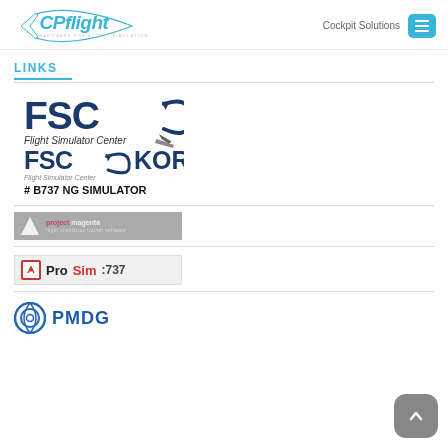CPflight - Hardware for Flight Simulation | Cockpit Solutions
LINKS
[Figure (logo): FSC Korea - Flight Simulator Center logo with text '# B737 NG SIMULATOR']
[Figure (logo): project magenta - flight simulation trainer software logo]
[Figure (logo): ProSim:737 logo]
[Figure (logo): PMDG logo with circular icon]